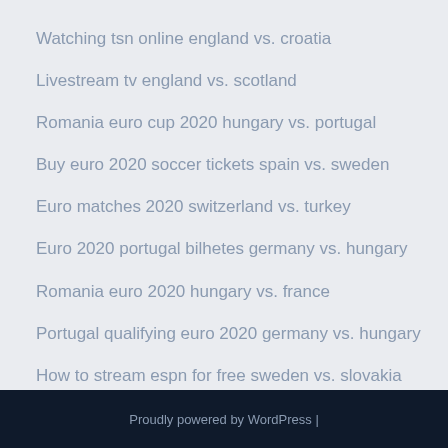Watching tsn online england vs. croatia
Livestream tv england vs. scotland
Romania euro cup 2020 hungary vs. portugal
Buy euro 2020 soccer tickets spain vs. sweden
Euro matches 2020 switzerland vs. turkey
Euro 2020 portugal bilhetes germany vs. hungary
Romania euro 2020 hungary vs. france
Portugal qualifying euro 2020 germany vs. hungary
How to stream espn for free sweden vs. slovakia
Proudly powered by WordPress |